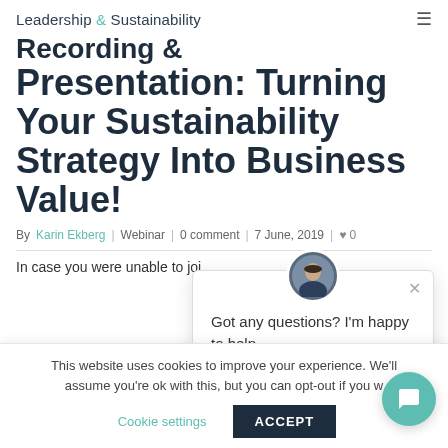Leadership & Sustainability
Recording & Presentation: Turning Your Sustainability Strategy Into Business Value!
By Karin Ekberg | Webinar | 0 comment | 7 June, 2019 | 0
In case you were unable to joi...
[Figure (screenshot): Chat popup with avatar photo of woman, close button, and message: Got any questions? I'm happy to help.]
This website uses cookies to improve your experience. We'll assume you're ok with this, but you can opt-out if you w...
Cookie settings    ACCEPT